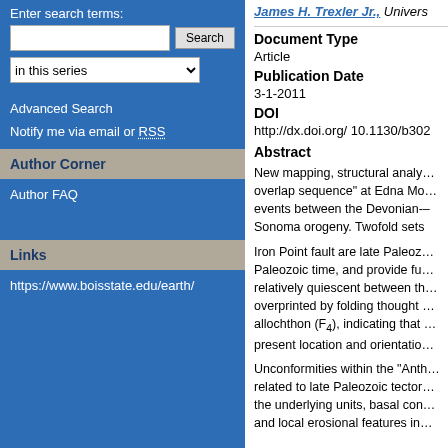Enter search terms:
in this series
Advanced Search
Notify me via email or RSS
Author Corner
Author FAQ
Links
https://www.boisstate.edu/earth/
James H. Trexler Jr., Univers…
Document Type
Article
Publication Date
3-1-2011
DOI
http://dx.doi.org/ 10.1130/b302…
Abstract
New mapping, structural analy… overlap sequence" at Edna Mo… events between the Devonian-… Sonoma orogeny. Twofold sets…
Iron Point fault are late Paleoz… Paleozoic time, and provide fu… relatively quiescent between th… overprinted by folding thought … allochthon (F₄), indicating that … present location and orientatio…
Unconformities within the "Anth… related to late Paleozoic tector… the underlying units, basal con… and local erosional features in…